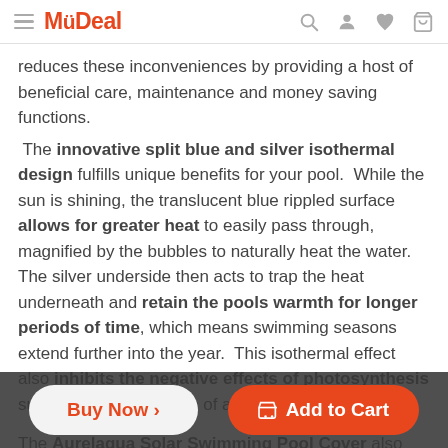MyDeal
reduces these inconveniences by providing a host of beneficial care, maintenance and money saving functions. The innovative split blue and silver isothermal design fulfills unique benefits for your pool.  While the sun is shining, the translucent blue rippled surface allows for greater heat to easily pass through, magnified by the bubbles to naturally heat the water.  The silver underside then acts to trap the heat underneath and retain the pools warmth for longer periods of time, which means swimming seasons extend further into the year.  This isothermal effect also inhibits the negative effects of photosynthesis such as the proliferation of algae.
The Aurelaqua Solar Swimming Pool Cover also eliminates evaporation needed to keep the sun seeping through the surface. Your pool will be